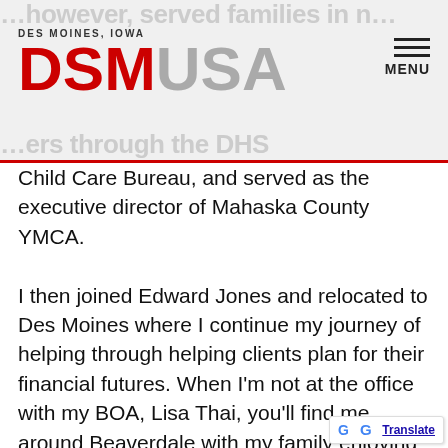DSM USA — Des Moines, Iowa
Child Care Bureau, and served as the executive director of Mahaska County YMCA.

I then joined Edward Jones and relocated to Des Moines where I continue my journey of helping through helping clients plan for their financial futures. When I'm not at the office with my BOA, Lisa Thai, you'll find me around Beaverdale with my family enjoying the outdoors. I volunteer with the Des Moines West Side Chamber of Commerc…